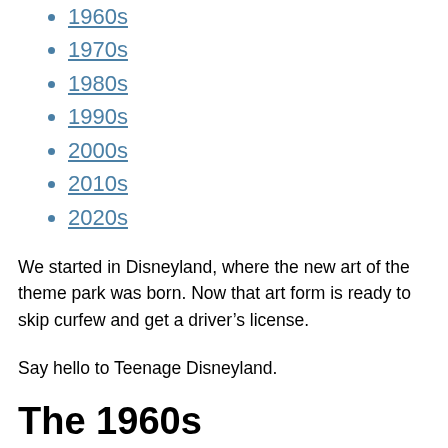1960s
1970s
1980s
1990s
2000s
2010s
2020s
We started in Disneyland, where the new art of the theme park was born. Now that art form is ready to skip curfew and get a driver’s license.
Say hello to Teenage Disneyland.
The 1960s
The decade marked a turning point for the Walt Disney company.